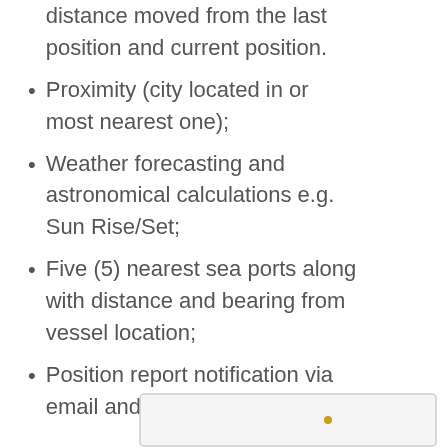distance moved from the last position and current position.
Proximity (city located in or most nearest one);
Weather forecasting and astronomical calculations e.g. Sun Rise/Set;
Five (5) nearest sea ports along with distance and bearing from vessel location;
Position report notification via email and SMS.
[Figure (screenshot): Partial screenshot of a device or software interface visible at the bottom right of the page]